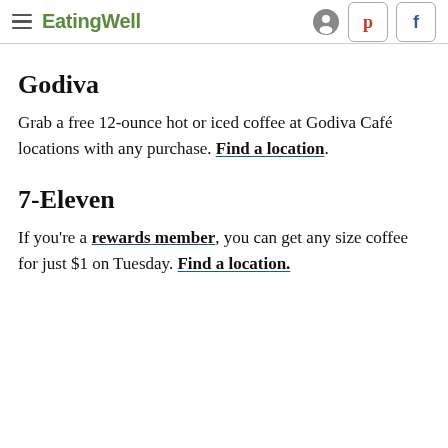EatingWell
Godiva
Grab a free 12-ounce hot or iced coffee at Godiva Café locations with any purchase. Find a location.
7-Eleven
If you're a rewards member, you can get any size coffee for just $1 on Tuesday. Find a location.